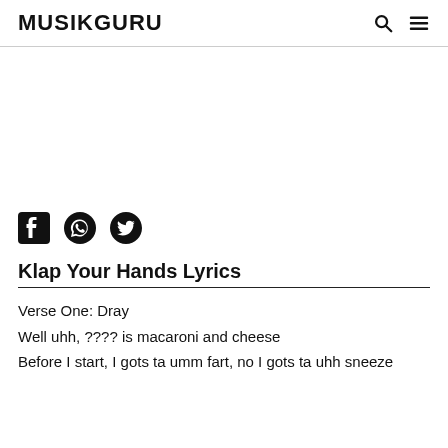MUSIKGURU
[Figure (other): Advertisement/blank area]
[Figure (other): Social share icons: Facebook, WhatsApp, Twitter]
Klap Your Hands Lyrics
Verse One: Dray
Well uhh, ???? is macaroni and cheese
Before I start, I gots ta umm fart, no I gots ta uhh sneeze